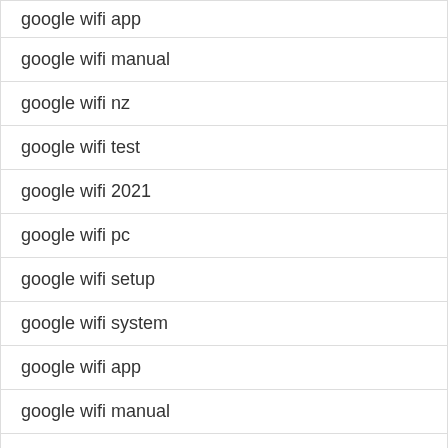google wifi app
google wifi manual
google wifi nz
google wifi test
google wifi 2021
google wifi pc
google wifi setup
google wifi system
google wifi app
google wifi manual
google wifi nz